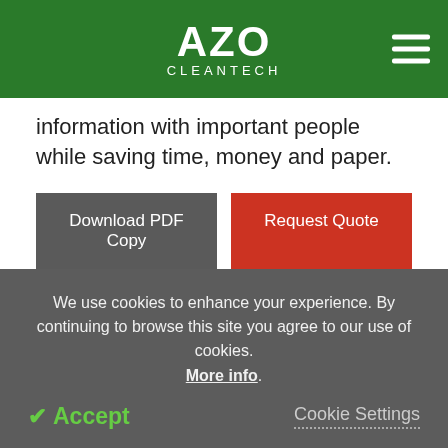AZO CLEANTECH
information with important people while saving time, money and paper.
Download PDF Copy
Request Quote
Read in:  English
Tell Us What You Think
We use cookies to enhance your experience. By continuing to browse this site you agree to our use of cookies. More info.
✔ Accept
Cookie Settings